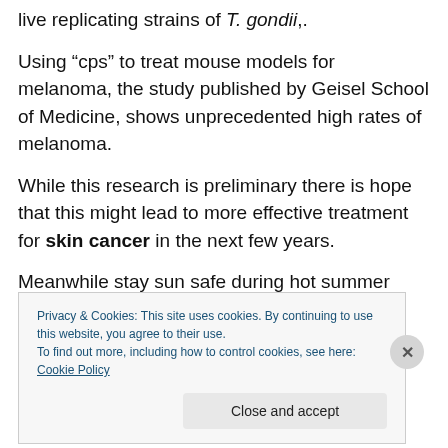live replicating strains of T. gondii,.
Using “cps” to treat mouse models for melanoma, the study published by Geisel School of Medicine, shows unprecedented high rates of melanoma.
While this research is preliminary there is hope that this might lead to more effective treatment for skin cancer in the next few years.
Meanwhile stay sun safe during hot summer months when the sun is strongest.
Privacy & Cookies: This site uses cookies. By continuing to use this website, you agree to their use.
To find out more, including how to control cookies, see here: Cookie Policy
Close and accept